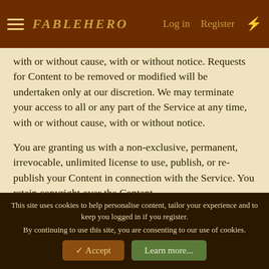FableHero — Log in | Register
with or without cause, with or without notice. Requests for Content to be removed or modified will be undertaken only at our discretion. We may terminate your access to all or any part of the Service at any time, with or without cause, with or without notice.
You are granting us with a non-exclusive, permanent, irrevocable, unlimited license to use, publish, or re-publish your Content in connection with the Service. You retain copyright over the Content.
These terms may be changed at any time without notice.
If you do not agree with these terms, please do not register or use the Service. Use of the Service constitutes acceptance of these terms if any, including changes made to these terms...
This site uses cookies to help personalise content, tailor your experience and to keep you logged in if you register.
By continuing to use this site, you are consenting to our use of cookies.